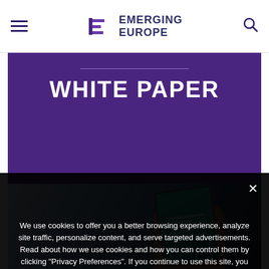Emerging Europe
[Figure (other): Emerging Europe website screenshot showing a White Paper banner with purple background and a photo of a person holding a tablet with a teal-colored document on screen]
We use cookies to offer you a better browsing experience, analyze site traffic, personalize content, and serve targeted advertisements. Read about how we use cookies and how you can control them by clicking "Privacy Preferences". If you continue to use this site, you consent to our use of cookies. More...